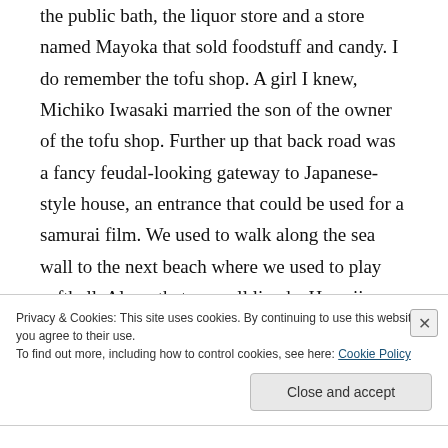the public bath, the liquor store and a store named Mayoka that sold foodstuff and candy. I do remember the tofu shop. A girl I knew, Michiko Iwasaki married the son of the owner of the tofu shop. Further up that back road was a fancy feudal-looking gateway to Japanese-style house, an entrance that could be used for a samurai film. We used to walk along the sea wall to the next beach where we used to play softball. Along that seawall lived a Hawaiian family whose daughter attended Niles C. Kinnick high
Privacy & Cookies: This site uses cookies. By continuing to use this website, you agree to their use.
To find out more, including how to control cookies, see here: Cookie Policy